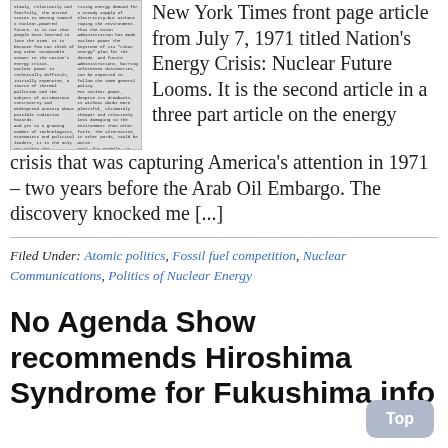[Figure (photo): Scanned newspaper article image shown as a small two-column newspaper clipping in black and white]
New York Times front page article from July 7, 1971 titled Nation's Energy Crisis: Nuclear Future Looms. It is the second article in a three part article on the energy crisis that was capturing America's attention in 1971 – two years before the Arab Oil Embargo. The discovery knocked me [...]
Filed Under: Atomic politics, Fossil fuel competition, Nuclear Communications, Politics of Nuclear Energy
No Agenda Show recommends Hiroshima Syndrome for Fukushima info